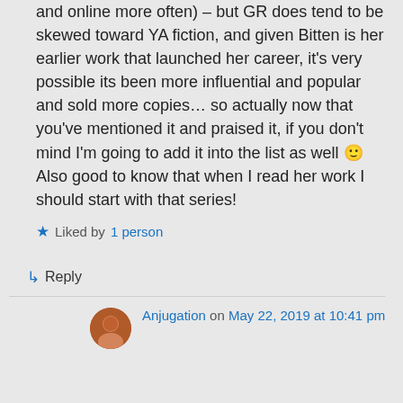and online more often) – but GR does tend to be skewed toward YA fiction, and given Bitten is her earlier work that launched her career, it's very possible its been more influential and popular and sold more copies… so actually now that you've mentioned it and praised it, if you don't mind I'm going to add it into the list as well 🙂 Also good to know that when I read her work I should start with that series!
★ Liked by 1 person
↳ Reply
Anjugation on May 22, 2019 at 10:41 pm